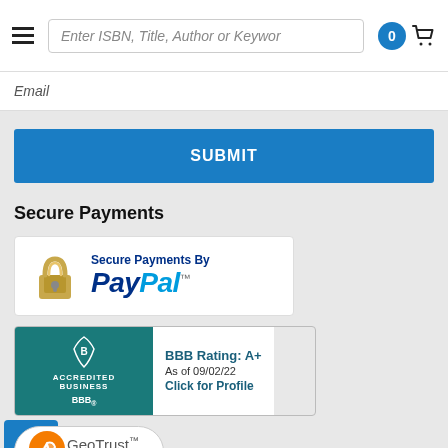Enter ISBN, Title, Author or Keyword | 0 | Cart
Email
SUBMIT
Secure Payments
[Figure (logo): Secure Payments By PayPal badge with padlock icon]
[Figure (logo): BBB Accredited Business badge. BBB Rating: A+ As of 09/02/22 Click for Profile]
[Figure (logo): GeoTrust Secured badge powered by digicert]
Secure Web Ho...